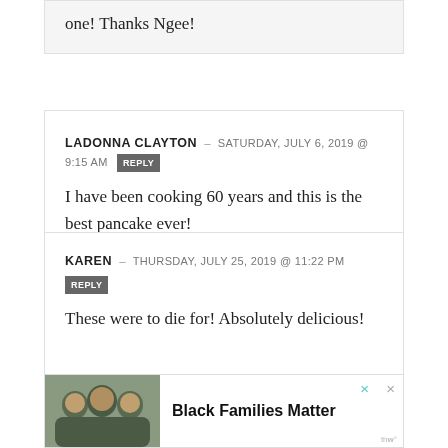one! Thanks Ngee!
LADONNA CLAYTON — SATURDAY, JULY 6, 2019 @ 9:15 AM [REPLY]
I have been cooking 60 years and this is the best pancake ever!
KAREN — THURSDAY, JULY 25, 2019 @ 11:22 PM [REPLY]
These were to die for! Absolutely delicious!
[Figure (other): Advertisement banner: Black Families Matter with photo of three people smiling]